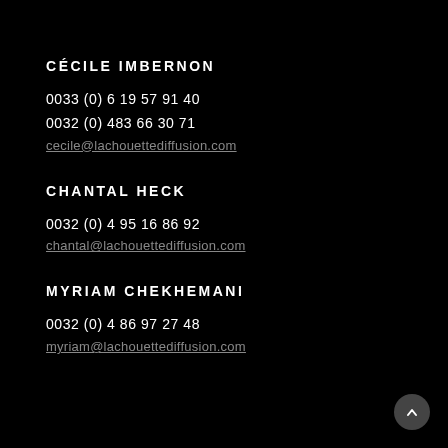CÉCILE IMBERNON
0033 (0) 6 19 57 91 40
0032 (0) 483 66  30 71
cecile@lachouettediffusion.com
CHANTAL HECK
0032 (0) 4 95 16 86 92
chantal@lachouettediffusion.com
MYRIAM CHEKHEMANI
0032 (0) 4 86 97 27 48
myriam@lachouettediffusion.com